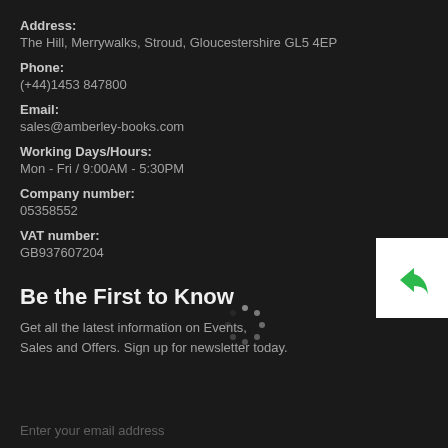Address:
The Hill, Merrywalks, Stroud, Gloucestershire GL5 4EP
Phone:
(+44)1453 847800
Email:
sales@amberley-books.com
Working Days/Hours:
Mon - Fri / 9:00AM - 5:30PM
Company number:
05358552
VAT number:
GB937607204
Be the First to Know
Get all the latest information on Events, Sales and Offers. Sign up for newsletter today.
Enter your email address